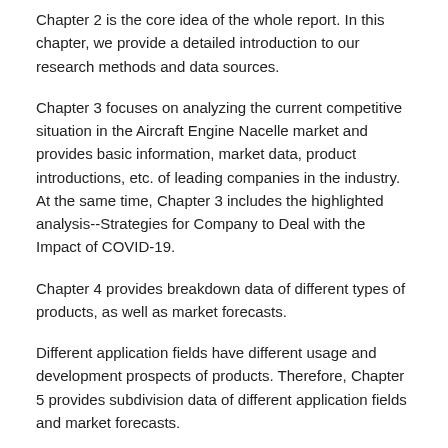Chapter 2 is the core idea of the whole report. In this chapter, we provide a detailed introduction to our research methods and data sources.
Chapter 3 focuses on analyzing the current competitive situation in the Aircraft Engine Nacelle market and provides basic information, market data, product introductions, etc. of leading companies in the industry. At the same time, Chapter 3 includes the highlighted analysis--Strategies for Company to Deal with the Impact of COVID-19.
Chapter 4 provides breakdown data of different types of products, as well as market forecasts.
Different application fields have different usage and development prospects of products. Therefore, Chapter 5 provides subdivision data of different application fields and market forecasts.
Chapter 6 includes detailed data of major regions of the world, including detailed data of major regions of the world. North America, Asia Pacific, Europe, South America, Middle East and Africa.
Chapters 7-26 focus on the regional market. We have selected the most representative 20 countries from 167 countries in the